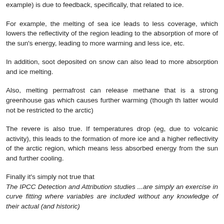example) is due to feedback, specifically, that related to ice.
For example, the melting of sea ice leads to less coverage, which lowers the reflectivity of the region leading to the absorption of more of the sun's energy, leading to more warming and less ice, etc.
In addition, soot deposited on snow can also lead to more absorption and ice melting.
Also, melting permafrost can release methane that is a strong greenhouse gas which causes further warming (though th latter would not be restricted to the arctic)
The revere is also true. If temperatures drop (eg, due to volcanic activity), this leads to the formation of more ice and a higher reflectivity of the arctic region, which means less absorbed energy from the sun and further cooling.
Finally it's simply not true that The IPCC Detection and Attribution studies ...are simply an exercise in curve fitting where variables are included without any knowledge of their actual (and historic)